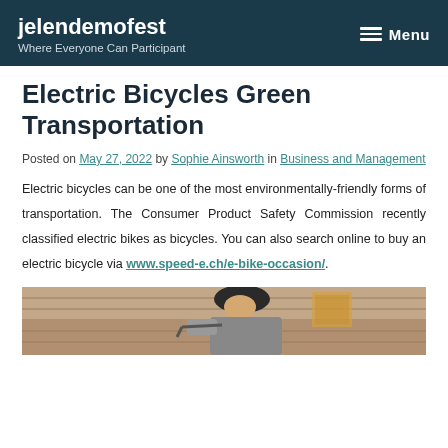jelendemofest | Where Everyone Can Participant | Menu
Electric Bicycles Green Transportation
Posted on May 27, 2022 by Sophie Ainsworth in Business and Management
Electric bicycles can be one of the most environmentally-friendly forms of transportation. The Consumer Product Safety Commission recently classified electric bikes as bicycles. You can also search online to buy an electric bicycle via www.speed-e.ch/e-bike-occasion/.
[Figure (photo): A person wearing a helmet riding an electric bicycle, photographed from the side/front angle.]